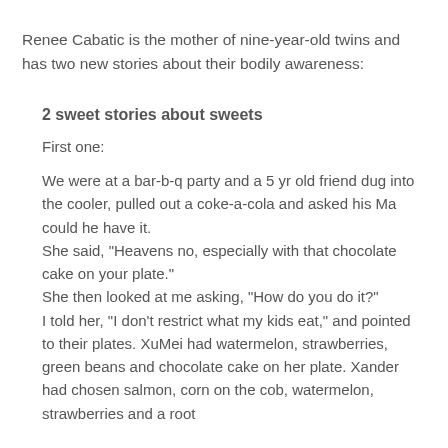Renee Cabatic is the mother of nine-year-old twins and has two new stories about their bodily awareness:
2 sweet stories about sweets
First one:
We were at a bar-b-q party and a 5 yr old friend dug into the cooler, pulled out a coke-a-cola and asked his Ma could he have it.
She said, "Heavens no, especially with that chocolate cake on your plate."
She then looked at me asking, "How do you do it?"
I told her, "I don't restrict what my kids eat," and pointed to their plates. XuMei had watermelon, strawberries, green beans and chocolate cake on her plate. Xander had chosen salmon, corn on the cob, watermelon, strawberries and a root